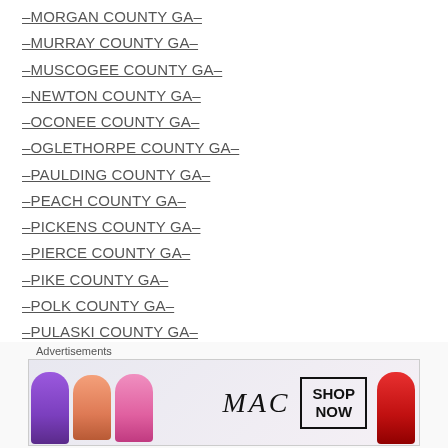–MORGAN COUNTY GA–
–MURRAY COUNTY GA–
–MUSCOGEE COUNTY GA–
–NEWTON COUNTY GA–
–OCONEE COUNTY GA–
–OGLETHORPE COUNTY GA–
–PAULDING COUNTY GA–
–PEACH COUNTY GA–
–PICKENS COUNTY GA–
–PIERCE COUNTY GA–
–PIKE COUNTY GA–
–POLK COUNTY GA–
–PULASKI COUNTY GA–
–PUTNAM COUNTY GA–
–QUITMAN COUNTY GA–
–RABUN COUNTY GA–
[Figure (other): Advertisement banner for MAC cosmetics with lipstick products and SHOP NOW button]